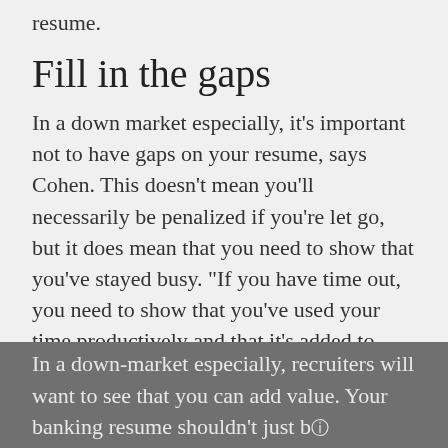resume.
Fill in the gaps
In a down market especially, it's important not to have gaps on your resume, says Cohen. This doesn't mean you'll necessarily be penalized if you're let go, but it does mean that you need to show that you've stayed busy. "If you have time out, you need to show that you've used your time productively and that it's added to your attractiveness," Cohen says. He points to one client who spent her time out of the market heavily involved with the CFA Society of New York, thereby filling a period out of the market with worthy activities that were appealing to new employers.
Focus on your value
In a down-market especially, recruiters will want to see that you can add value. Your banking resume shouldn't just b…